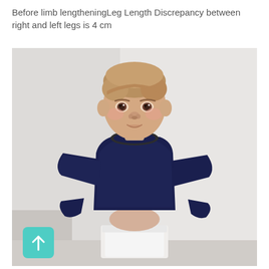Before limb lengtheningLeg Length Discrepancy between right and left legs is 4 cm
[Figure (photo): Clinical photograph of a young boy standing upright against a light grey/white background, wearing a dark navy blue long-sleeve sweater and white shorts/underwear. The image is taken before limb lengthening surgery to show leg length discrepancy.]